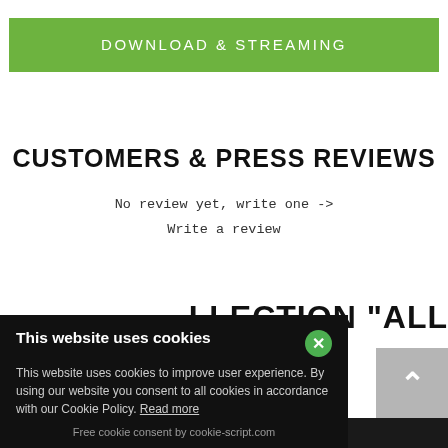DOWNLOAD & STREAMING
CUSTOMERS & PRESS REVIEWS
No review yet, write one ->
Write a review
LLECTION "ALL
This website uses cookies
This website uses cookies to improve user experience. By using our website you consent to all cookies in accordance with our Cookie Policy. Read more
Free cookie consent by cookie-script.com